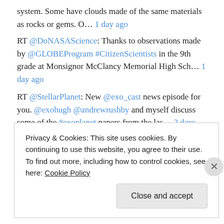system. Some have clouds made of the same materials as rocks or gems. O… 1 day ago
RT @DoNASAScience: Thanks to observations made by @GLOBEProgram #CitizenScientists in the 9th grade at Monsignor McClancy Memorial High Sch… 1 day ago
RT @StellarPlanet: New @exo_cast news episode for you. @exohugh @andrewrushby and myself discuss some of the #exoplanet papers from the las… 2 days ago
RT @aussiastronomer: Congrats to the #JWST Early Release Science team on this gorgeous result!! Which can now be found in the @NExScI_IPAC… 4 days ago
Privacy & Cookies: This site uses cookies. By continuing to use this website, you agree to their use. To find out more, including how to control cookies, see here: Cookie Policy Close and accept